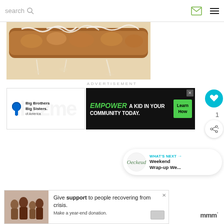search  [search icon]  [email icon]  [menu icon]
[Figure (photo): Close-up photo of a glazed pastry or cinnamon roll log with white icing drizzled on top, on parchment paper]
ADVERTISEMENT
[Figure (photo): Big Brothers Big Sisters of America advertisement with logo]
[Figure (infographic): Advertisement: EMPOWER A KID IN YOUR COMMUNITY TODAY. [Learn How button]]
1
WHAT'S NEXT → Weekend Wrap-up We...
[Figure (photo): Bottom advertisement: Give support to people recovering from crisis. Make a year-end donation. [family photo]]
mmm°